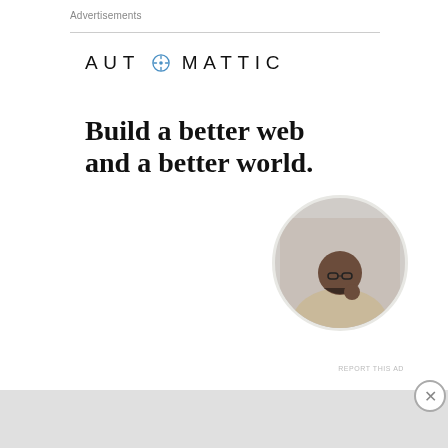Advertisements
[Figure (logo): Automattic logo with compass icon]
Build a better web and a better world.
[Figure (illustration): Blue Apply button]
[Figure (photo): Circular photo of a man thinking at a desk]
REPORT THIS AD
Advertisements
[Figure (infographic): DuckDuckGo advertisement banner on orange background with phone illustration. Text: Search, browse, and email with more privacy. All in One Free App. DuckDuckGo.]
REPORT THIS AD